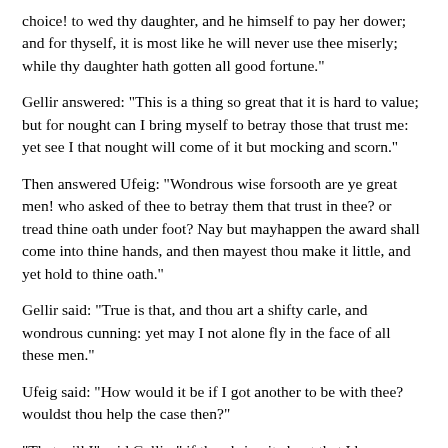choice! to wed thy daughter, and he himself to pay her dower; and for thyself, it is most like he will never use thee miserly; while thy daughter hath gotten all good fortune."
Gellir answered: "This is a thing so great that it is hard to value; but for nought can I bring myself to betray those that trust me: yet see I that nought will come of it but mocking and scorn."
Then answered Ufeig: "Wondrous wise forsooth are ye great men! who asked of thee to betray them that trust in thee? or tread thine oath under foot? Nay but mayhappen the award shall come into thine hands, and then mayest thou make it little, and yet hold to thine oath."
Gellir said: "True is that, and thou art a shifty carle, and wondrous cunning: yet may I not alone fly in the face of all these men."
Ufeig said: "How would it be if I got another to be with thee? wouldst thou help the case then?"
"That will I" said Gellir, " if thou bring it about that I have